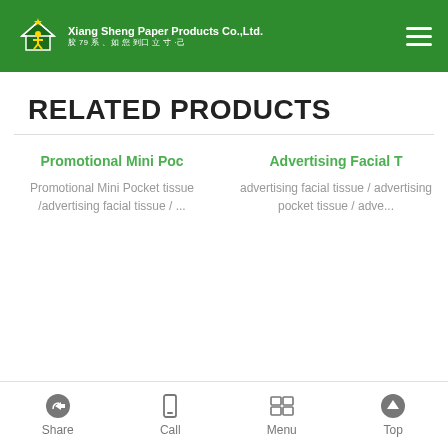Xiang Sheng Paper Products Co.,Ltd.
RELATED PRODUCTS
Promotional Mini Poc
Promotional Mini Pocket tissue /advertising facial tissue / ...
Advertising Facial T
advertising facial tissue / advertising pocket tissue / adve...
Share  Call  Menu  Top